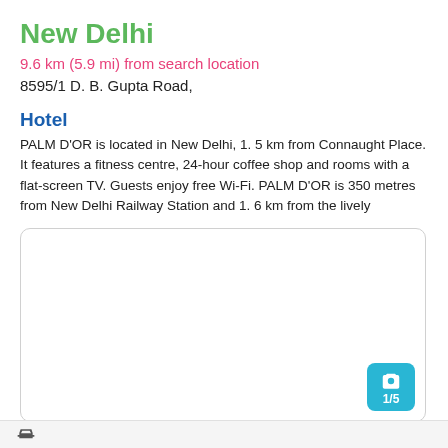New Delhi
9.6 km (5.9 mi) from search location
8595/1 D. B. Gupta Road,
Hotel
PALM D'OR is located in New Delhi, 1. 5 km from Connaught Place. It features a fitness centre, 24-hour coffee shop and rooms with a flat-screen TV. Guests enjoy free Wi-Fi. PALM D'OR is 350 metres from New Delhi Railway Station and 1. 6 km from the lively
[Figure (photo): Hotel photo placeholder with camera icon and 1/5 counter badge]